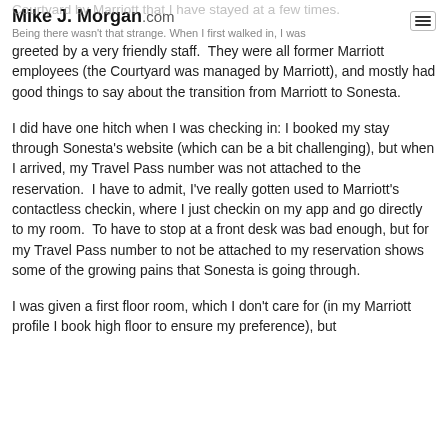Mike J. Morgan.com
Courtyard by Marriott that I have stayed at a few times. Being there wasn't that strange.  When I first walked in, I was greeted by a very friendly staff.  They were all former Marriott employees (the Courtyard was managed by Marriott), and mostly had good things to say about the transition from Marriott to Sonesta.
I did have one hitch when I was checking in: I booked my stay through Sonesta's website (which can be a bit challenging), but when I arrived, my Travel Pass number was not attached to the reservation.  I have to admit, I've really gotten used to Marriott's contactless checkin, where I just checkin on my app and go directly to my room.  To have to stop at a front desk was bad enough, but for my Travel Pass number to not be attached to my reservation shows some of the growing pains that Sonesta is going through.
I was given a first floor room, which I don't care for (in my Marriott profile I book high floor to ensure my preference), but